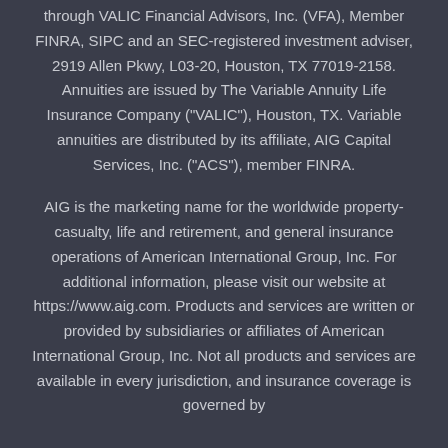through VALIC Financial Advisors, Inc. (VFA), Member FINRA, SIPC and an SEC-registered investment adviser, 2919 Allen Pkwy, L03-20, Houston, TX 77019-2158. Annuities are issued by The Variable Annuity Life Insurance Company ("VALIC"), Houston, TX. Variable annuities are distributed by its affiliate, AIG Capital Services, Inc. ("ACS"), member FINRA.
AIG is the marketing name for the worldwide property-casualty, life and retirement, and general insurance operations of American International Group, Inc. For additional information, please visit our website at https://www.aig.com. Products and services are written or provided by subsidiaries or affiliates of American International Group, Inc. Not all products and services are available in every jurisdiction, and insurance coverage is governed by